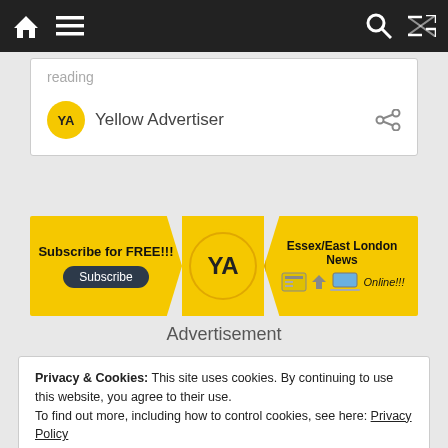Navigation bar with home, menu, search, and shuffle icons
reading
Yellow Advertiser
[Figure (infographic): Yellow Advertiser subscription banner advertisement with 'Subscribe for FREE!!!', Subscribe button, YA logo, and Essex/East London News Online text with newspaper and laptop icons]
Advertisement
Privacy & Cookies: This site uses cookies. By continuing to use this website, you agree to their use.
To find out more, including how to control cookies, see here: Privacy Policy
Close and accept